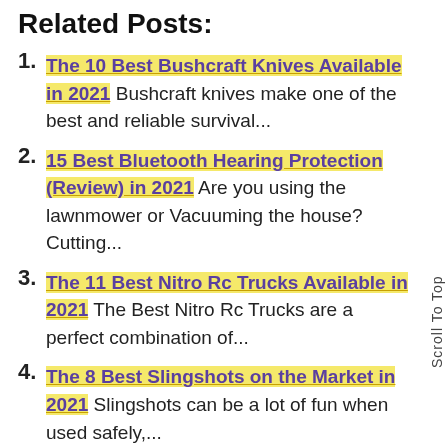Related Posts:
The 10 Best Bushcraft Knives Available in 2021 Bushcraft knives make one of the best and reliable survival...
15 Best Bluetooth Hearing Protection (Review) in 2021 Are you using the lawnmower or Vacuuming the house? Cutting...
The 11 Best Nitro Rc Trucks Available in 2021 The Best Nitro Rc Trucks are a perfect combination of...
The 8 Best Slingshots on the Market in 2021 Slingshots can be a lot of fun when used safely,...